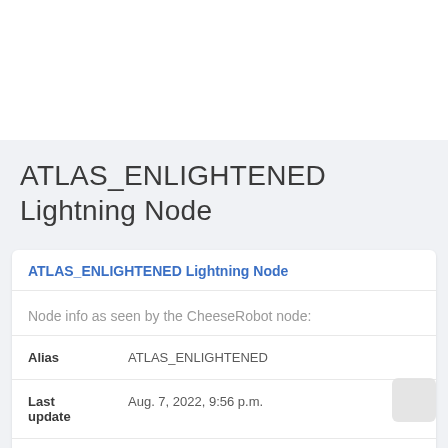ATLAS_ENLIGHTENED Lightning Node
ATLAS_ENLIGHTENED Lightning Node
Node info as seen by the CheeseRobot node:
| Field | Value |
| --- | --- |
| Alias | ATLAS_ENLIGHTENED |
| Last update | Aug. 7, 2022, 9:56 p.m. |
| Peer graph | Peer graph |